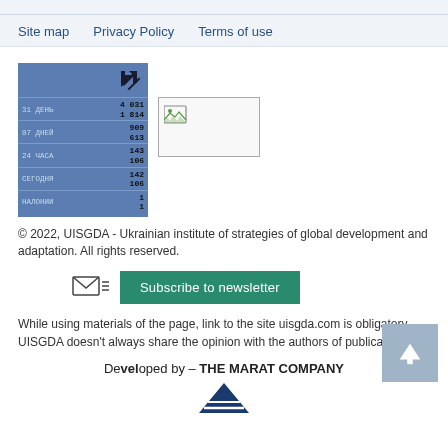Site map   Privacy Policy   Terms of use
[Figure (screenshot): Blue counter widget showing site statistics: 31 ДЕНЬ 4031/1814, 07 ДНЕЙ 909/613, 24 ЧАСА 143/106, СЕГОДНЯ 142/106, НАЛОНИИ 1/1]
[Figure (photo): Small placeholder image with broken image icon]
© 2022, UISGDA - Ukrainian institute of strategies of global development and adaptation. All rights reserved.
Subscribe to newsletter
While using materials of the page, link to the site uisgda.com is obligatory. UISGDA doesn't always share the opinion with the authors of publications
[Figure (logo): MARAT company logo - triangle shape with MARAT text]
Developed by – THE MARAT COMPANY